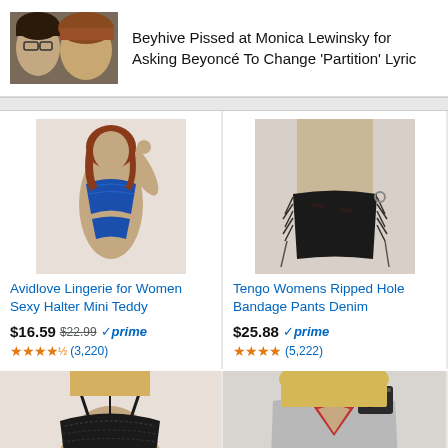[Figure (photo): News thumbnail showing two women (Monica Lewinsky and Beyoncé)]
Beyhive Pissed at Monica Lewinsky for Asking Beyoncé To Change 'Partition' Lyric
[Figure (photo): Product image: Avidlove blue lingerie teddy]
Avidlove Lingerie for Women Sexy Halter Mini Teddy
$16.59 $22.99 ✓prime ★★★★½ (3,220)
[Figure (photo): Product image: Tengo black ripped denim shorts]
Tengo Womens Ripped Hole Bandage Pants Denim
$25.88 ✓prime ★★★★ (5,222)
[Figure (photo): Product image: black lace bralette partial view]
[Figure (photo): Product image: woman in gray top partial view]